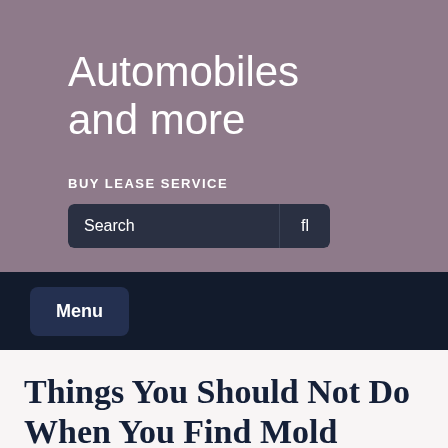Automobiles and more
BUY LEASE SERVICE
Search
Menu
Things You Should Not Do When You Find Mold